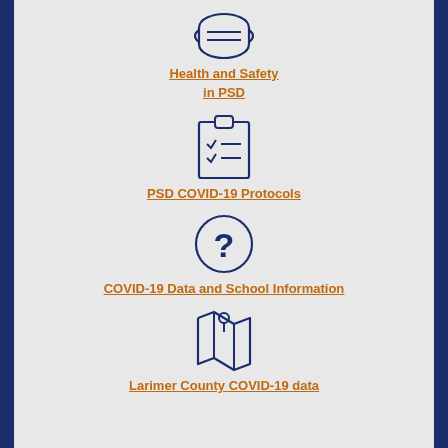[Figure (illustration): Mask icon (face covering)]
Health and Safety in PSD
[Figure (illustration): Clipboard with checklist icon]
PSD COVID-19 Protocols
[Figure (illustration): Circle with question mark icon]
COVID-19 Data and School Information
[Figure (illustration): Map with location pin icon]
Larimer County COVID-19 data